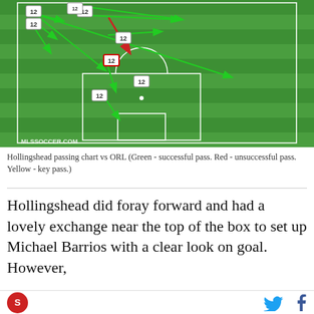[Figure (infographic): Soccer/football pitch diagram showing Hollingshead passing chart vs ORL. Green arrows indicate successful passes, red arrows indicate unsuccessful passes. Player markers labeled '12' are placed at various positions on the pitch. The pitch shows standard markings including the penalty area, goal area, and center circle on a green striped field. MLSSoccer.com watermark visible bottom left.]
Hollingshead passing chart vs ORL (Green - successful pass. Red - unsuccessful pass. Yellow - key pass.)
Hollingshead did foray forward and had a lovely exchange near the top of the box to set up Michael Barrios with a clear look on goal. However,